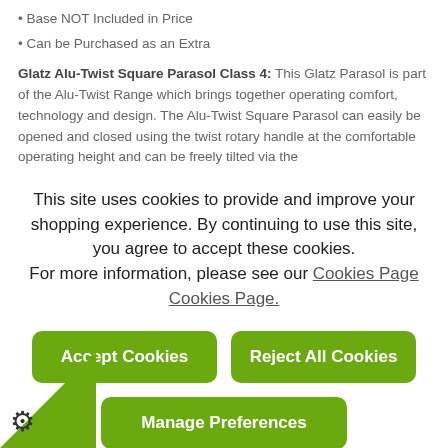• Base NOT Included in Price
• Can be Purchased as an Extra
Glatz Alu-Twist Square Parasol Class 4: This Glatz Parasol is part of the Alu-Twist Range which brings together operating comfort, technology and design. The Alu-Twist Square Parasol can easily be opened and closed using the twist rotary handle at the comfortable operating height and can be freely tilted via the
This site uses cookies to provide and improve your shopping experience. By continuing to use this site, you agree to accept these cookies. For more information, please see our Cookies Page Cookies Page.
Accept Cookies
Reject All Cookies
Manage Preferences